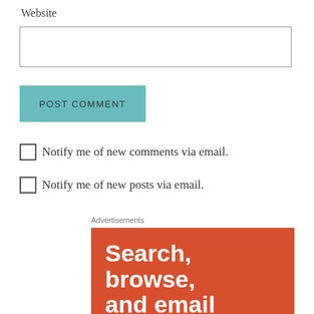Website
[input box]
POST COMMENT
Notify me of new comments via email.
Notify me of new posts via email.
Advertisements
[Figure (infographic): Orange advertisement banner with large white bold text reading 'Search, browse, and email']